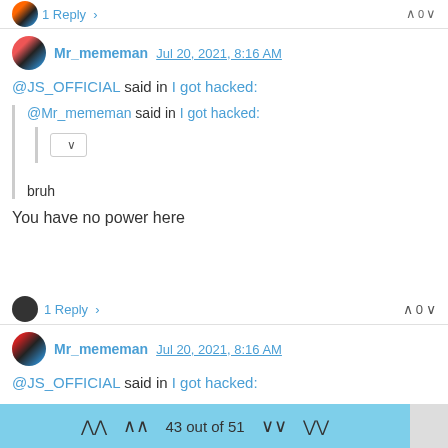1 Reply >
Mr_mememan Jul 20, 2021, 8:16 AM
@JS_OFFICIAL said in I got hacked:
@Mr_mememan said in I got hacked:
bruh
You have no power here
1 Reply >
0
Mr_mememan Jul 20, 2021, 8:16 AM
@JS_OFFICIAL said in I got hacked:
43 out of 51